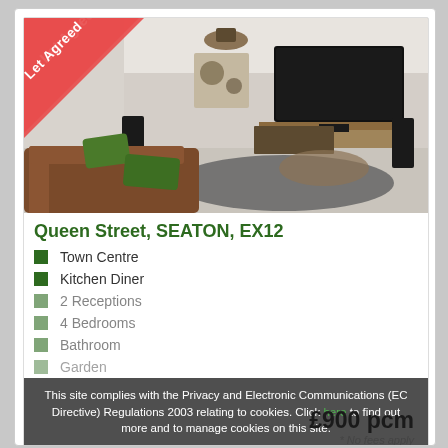[Figure (photo): Interior photo of a living room with brown sofas, green cushions, large TV on wall, grey rug, and speakers. Red banner in top-left corner with 'Let Agreed' text.]
Queen Street, SEATON, EX12
Town Centre
Kitchen Diner
2 Receptions
4 Bedrooms
Bathroom
Garden
This site complies with the Privacy and Electronic Communications (EC Directive) Regulations 2003 relating to cookies. Click here to find out more and to manage cookies on this site.
£900 pcm
* No fees apply